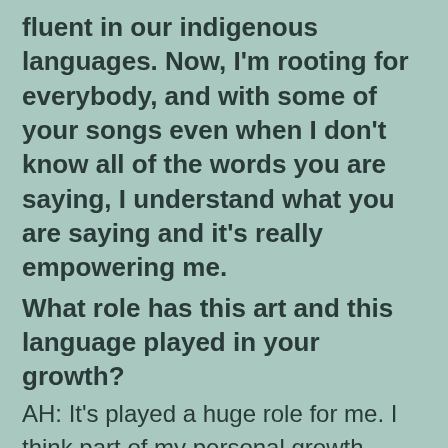fluent in our indigenous languages. Now, I'm rooting for everybody, and with some of your songs even when I don't know all of the words you are saying, I understand what you are saying and it's really empowering me.
What role has this art and this language played in your growth?
AH: It's played a huge role for me. I think part of my personal growth comes from this whole movement, that collective growth you described. Having this entire community you come from and knowing that as soon as one person makes that one song, or tells that one